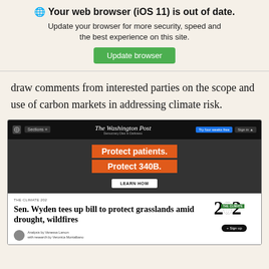🌐 Your web browser (iOS 11) is out of date. Update your browser for more security, speed and the best experience on this site. Update browser
draw comments from interested parties on the scope and use of carbon markets in addressing climate risk.
[Figure (screenshot): Screenshot of The Washington Post website showing navigation bar, an advertisement banner reading 'Protect patients. Protect 340B. Learn How', and an article headline 'Sen. Wyden tees up bill to protect grasslands amid drought, wildfires' with THE CLIMATE 202 tag and a THE 202 newsletter signup logo.]